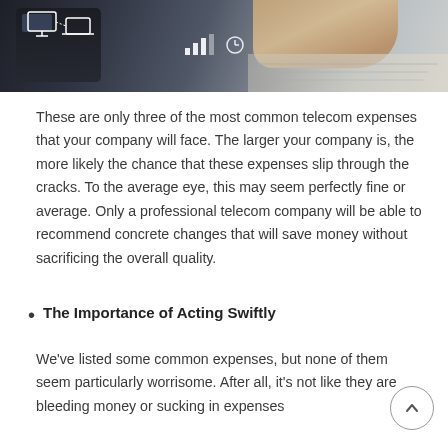[Figure (photo): A photo showing a hand pressing buttons on a dark telephone/office device, overlaid with network/connectivity icons and signal bars on the left side, with document papers visible on the right.]
These are only three of the most common telecom expenses that your company will face. The larger your company is, the more likely the chance that these expenses slip through the cracks. To the average eye, this may seem perfectly fine or average. Only a professional telecom company will be able to recommend concrete changes that will save money without sacrificing the overall quality.
The Importance of Acting Swiftly
We've listed some common expenses, but none of them seem particularly worrisome. After all, it's not like they are bleeding money or sucking in expenses